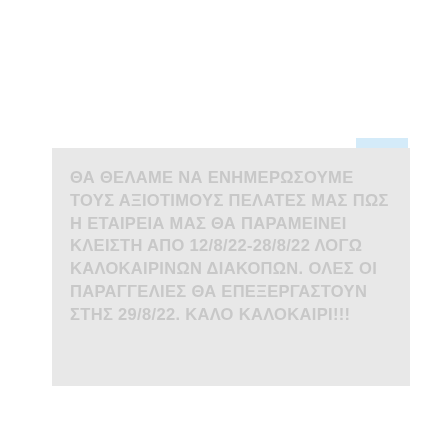ΘΑ ΘΕΛΑΜΕ ΝΑ ΕΝΗΜΕΡΩΣΟΥΜΕ ΤΟΥΣ ΑΞΙΟΤΙΜΟΥΣ ΠΕΛΑΤΕΣ ΜΑΣ ΠΩΣ Η ΕΤΑΙΡΕΙΑ ΜΑΣ ΘΑ ΠΑΡΑΜΕΙΝΕΙ ΚΛΕΙΣΤΗ ΑΠΟ 12/8/22-28/8/22 ΛΟΓΩ ΚΑΛΟΚΑΙΡΙΝΩΝ ΔΙΑΚΟΠΩΝ. ΟΛΕΣ ΟΙ ΠΑΡΑΓΓΕΛΙΕΣ ΘΑ ΕΠΕΞΕΡΓΑΣΤΟΥΝ ΣΤΗΣ 29/8/22. ΚΑΛΟ ΚΑΛΟΚΑΙΡΙ!!!